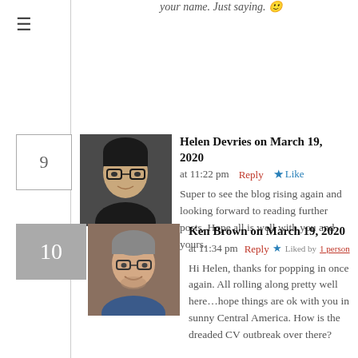your name. Just saying. 😊
≡
9
Helen Devries on March 19, 2020 at 11:22 pm  Reply  ★ Like
Super to see the blog rising again and looking forward to reading further posts. Hope all is well with you and yours.
10
Ken Brown on March 19, 2020 at 11:34 pm  Reply  ★ Liked by 1 person
Hi Helen, thanks for popping in once again. All rolling along pretty well here…hope things are ok with you in sunny Central America. How is the dreaded CV outbreak over there?